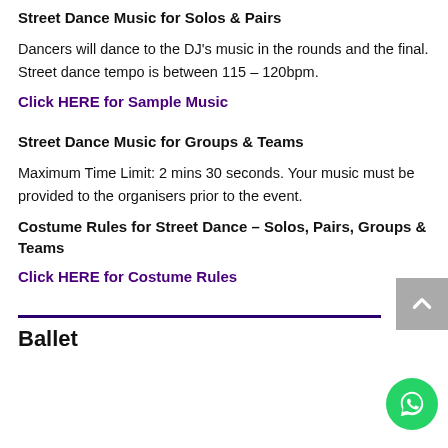Street Dance Music for Solos & Pairs
Dancers will dance to the DJ's music in the rounds and the final. Street dance tempo is between 115 – 120bpm.
Click HERE for Sample Music
Street Dance Music for Groups & Teams
Maximum Time Limit: 2 mins 30 seconds. Your music must be provided to the organisers prior to the event.
Costume Rules for Street Dance – Solos, Pairs, Groups & Teams
Click HERE for Costume Rules
Ballet